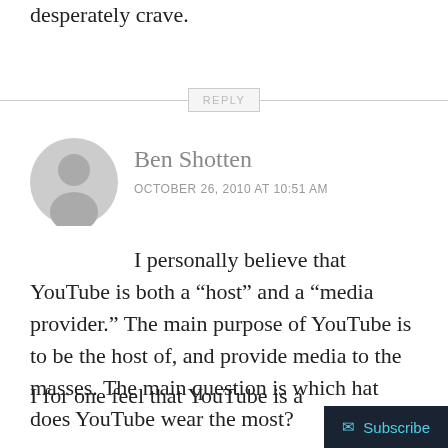desperately crave.
REPLY
Ben Shotten
OCTOBER 26, 2010 AT 10:51 AM
I personally believe that YouTube is both a “host” and a “media provider.” The main purpose of YouTube is to be the host of, and provide media to the masses. The main question is which hat does YouTube wear the most?
I for one feel that YouTube is a “host’
✉ Subscribe